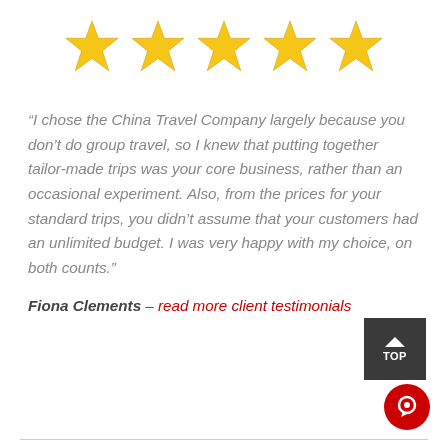[Figure (illustration): Five gold/yellow five-pointed stars in a horizontal row, representing a 5-star rating.]
“I chose the China Travel Company largely because you don’t do group travel, so I knew that putting together tailor-made trips was your core business, rather than an occasional experiment. Also, from the prices for your standard trips, you didn’t assume that your customers had an unlimited budget. I was very happy with my choice, on both counts.”
Fiona Clements – read more client testimonials